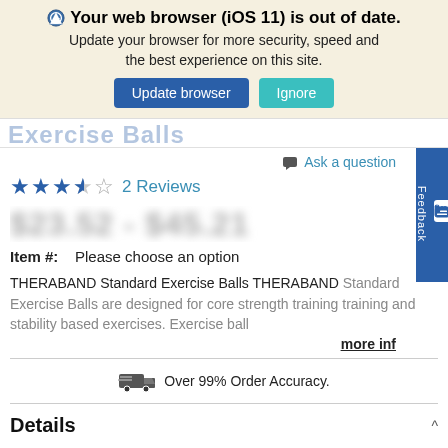[Figure (screenshot): Browser update banner notification with shield icon, bold text 'Your web browser (iOS 11) is out of date.', subtext 'Update your browser for more security, speed and the best experience on this site.', and two buttons: 'Update browser' (dark blue) and 'Ignore' (teal)]
Ask a question
★★★½☆  2 Reviews
$23.52 - $45.21
Item #:    Please choose an option
THERABAND Standard Exercise Balls THERABAND Standard Exercise Balls are designed for core strength training training and stability based exercises. Exercise ball
more inf
Over 99% Order Accuracy.
Details